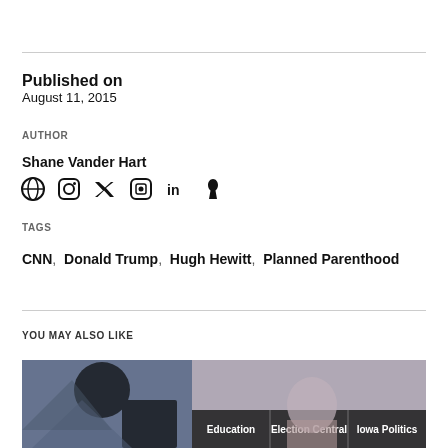Published on
August 11, 2015
AUTHOR
Shane Vander Hart
[Figure (other): Social media icons: globe, Facebook, Twitter/X, Instagram, LinkedIn, Snapchat]
TAGS
CNN, Donald Trump, Hugh Hewitt, Planned Parenthood
YOU MAY ALSO LIKE
[Figure (photo): A photo with dark silhouettes on the left and a figure on the right, with category tag buttons overlaid: Education, Election Central, Iowa Politics]